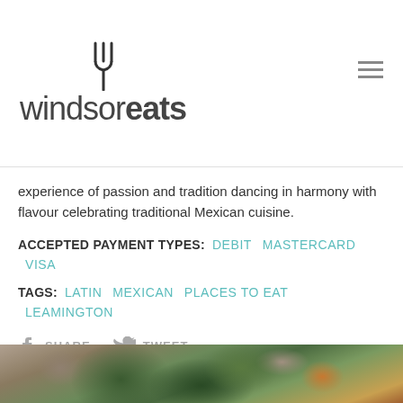windsoреats
experience of passion and tradition dancing in harmony with flavour celebrating traditional Mexican cuisine.
ACCEPTED PAYMENT TYPES: DEBIT MASTERCARD VISA
TAGS: LATIN MEXICAN PLACES TO EAT LEAMINGTON
f SHARE  TWEET
RELATED POSTS
[Figure (photo): Food photo showing tacos with green herbs/cilantro toppings]